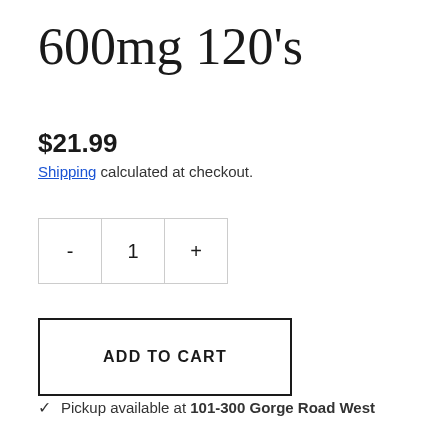600mg 120's
$21.99
Shipping calculated at checkout.
- 1 +
ADD TO CART
✓ Pickup available at 101-300 Gorge Road West